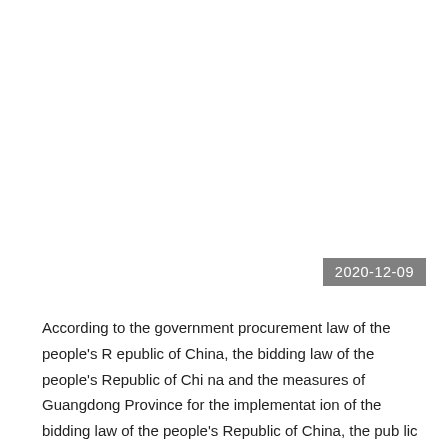2020-12-09
According to the government procurement law of the people's Republic of China, the bidding law of the people's Republic of China and the measures of Guangdong Province for the implementation of the bidding law of the people's Republic of China, the public bidding for the security monitoring system project of Huaxin (Foshan) Color Printing Co., Ltd. is organized. Domestic qualifie